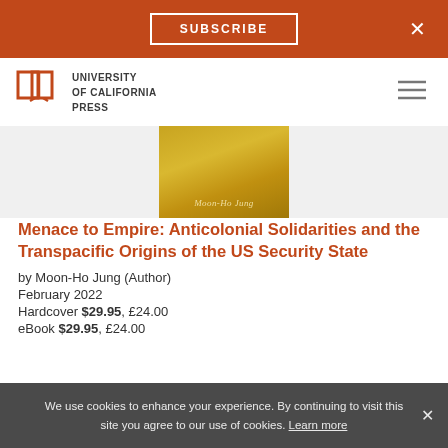SUBSCRIBE
[Figure (logo): University of California Press logo with open book icon]
[Figure (photo): Book cover showing gold/yellow background with author name Moon-Ho Jung in italic text]
Menace to Empire: Anticolonial Solidarities and the Transpacific Origins of the US Security State
by Moon-Ho Jung (Author)
February 2022
Hardcover $29.95,  £24.00
eBook $29.95,  £24.00
We use cookies to enhance your experience. By continuing to visit this site you agree to our use of cookies. Learn more